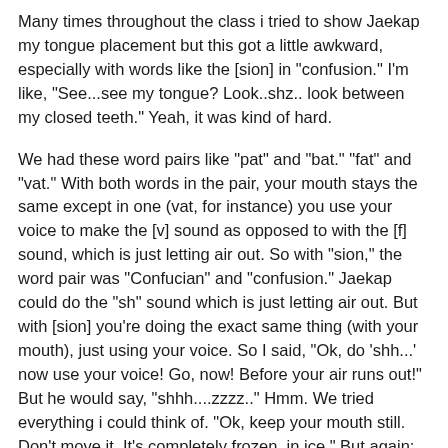Many times throughout the class i tried to show Jaekap my tongue placement but this got a little awkward, especially with words like the [sion] in "confusion." I'm like, "See...see my tongue? Look..shz.. look between my closed teeth." Yeah, it was kind of hard.
We had these word pairs like "pat" and "bat." "fat" and "vat." With both words in the pair, your mouth stays the same except in one (vat, for instance) you use your voice to make the [v] sound as opposed to with the [f] sound, which is just letting air out. So with "sion," the word pair was "Confucian" and "confusion." Jaekap could do the "sh" sound which is just letting air out. But with [sion] you're doing the exact same thing (with your mouth), just using your voice. So I said, "Ok, do 'shh...' now use your voice! Go, now! Before your air runs out!" But he would say, "shhh....zzzz.." Hmm. We tried everything i could think of. "Ok, keep your mouth still. Don't move it. It's completely frozen, in ice." But again: "Shhh....zzzz.." He laughed because he knew he struggles with it and has forever. Boy, you really have to think about what your mouth does when you talk. I wish I had a plastic mouth with a detachable jaw, and also a tongue. Hey, maybe